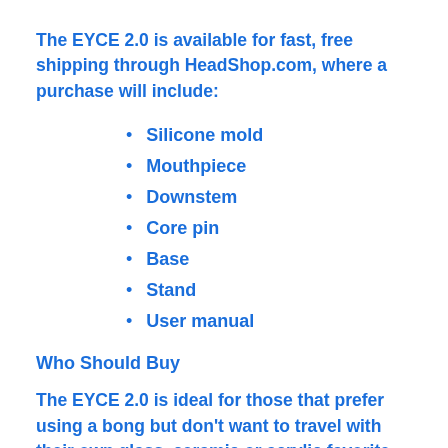The EYCE 2.0 is available for fast, free shipping through HeadShop.com, where a purchase will include:
Silicone mold
Mouthpiece
Downstem
Core pin
Base
Stand
User manual
Who Should Buy
The EYCE 2.0 is ideal for those that prefer using a bong but don't want to travel with their own glass, ceramic or acrylic favorite